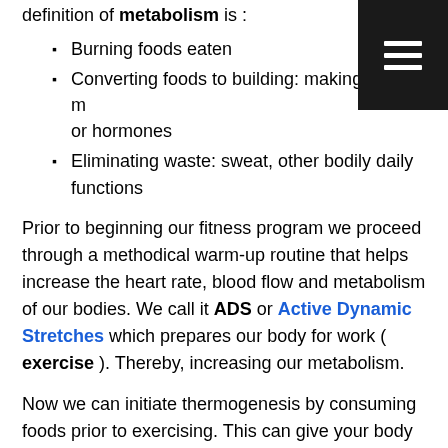definition of metabolism is :
Burning foods eaten
Converting foods to building: making cells, m or hormones
Eliminating waste: sweat, other bodily daily functions
Prior to beginning our fitness program we proceed through a methodical warm-up routine that helps increase the heart rate, blood flow and metabolism of our bodies. We call it ADS or Active Dynamic Stretches which prepares our body for work ( exercise ). Thereby, increasing our metabolism.
Now we can initiate thermogenesis by consuming foods prior to exercising. This can give your body an advantage in its ability to burn fat and increase muscle growth. What are